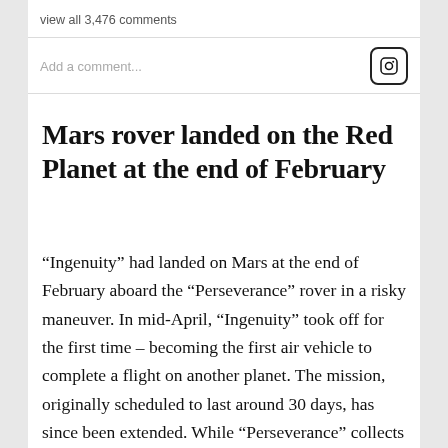view all 3,476 comments
Add a comment...
Mars rover landed on the Red Planet at the end of February
“Ingenuity” had landed on Mars at the end of February aboard the “Perseverance” rover in a risky maneuver. In mid-April, “Ingenuity” took off for the first time – becoming the first air vehicle to complete a flight on another planet. The mission, originally scheduled to last around 30 days, has since been extended. While “Perseverance” collects samples on Mars for shipment to